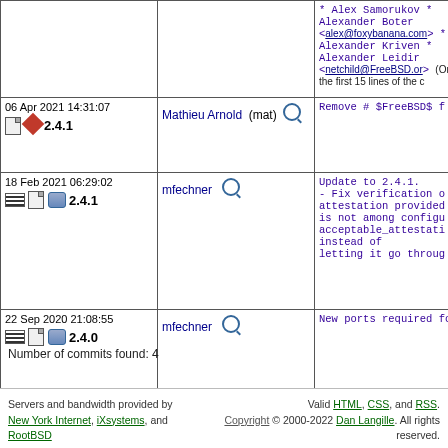| Date/Icons | Author | Commit Message |
| --- | --- | --- |
| (top continuation row with contributor names and truncated text) |  | * Alex Samorukov
* Alexander Botero <alex@foxybanana.com>
* Alexander Kriventsov
* Alexander Leidir <netchild@FreeBSD.org>
(Only the first 15 lines of the c |
| 06 Apr 2021 14:31:07 [icons] 2.4.1 | Mathieu Arnold (mat) [search] | Remove # $FreeBSD$ f |
| 18 Feb 2021 06:29:02 [icons] 2.4.1 | mfechner [search] | Update to 2.4.1.
- Fix verification of
attestation provided
is not among configu
acceptable_attestati
instead of
letting it go throug |
| 22 Sep 2020 21:08:55 [icons] 2.4.0 | mfechner [search] | New ports required fo |
Number of commits found: 4
Servers and bandwidth provided by New York Internet, iXsystems, and RootBSD | Valid HTML, CSS, and RSS. Copyright © 2000-2022 Dan Langille. All rights reserved.